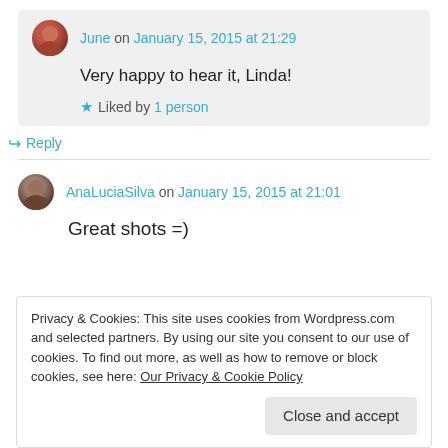June on January 15, 2015 at 21:29
Very happy to hear it, Linda!
Liked by 1 person
Reply
AnaLuciaSilva on January 15, 2015 at 21:01
Great shots =)
Privacy & Cookies: This site uses cookies from Wordpress.com and selected partners. By using our site you consent to our use of cookies. To find out more, as well as how to remove or block cookies, see here: Our Privacy & Cookie Policy
Close and accept